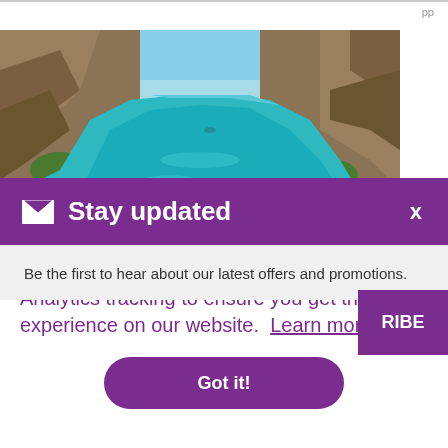pp
[Figure (photo): Aerial view of a turquoise river gorge flanked by rocky cliffs and sparse vegetation, with blue sky overhead. A scenic Australian landscape waterway.]
Stay updated
Be the first to hear about our latest offers and promotions.
This website uses cookies and Google Analytics tracking to ensure you get the best experience on our website.  Learn more
Got it!
FIND OUT MORE